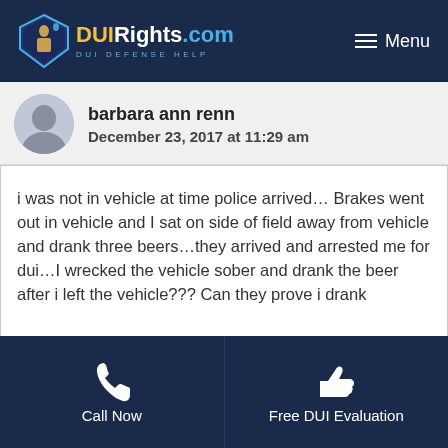DUIRights.com — DUI DEFENSE HELP | Menu
barbara ann renn
December 23, 2017 at 11:29 am
i was not in vehicle at time police arrived... Brakes went out in vehicle and I sat on side of field away from vehicle and drank three beers...they arrived and arrested me for dui...I wrecked the vehicle sober and drank the beer after i left the vehicle??? Can they prove i drank
Call Now | Free DUI Evaluation